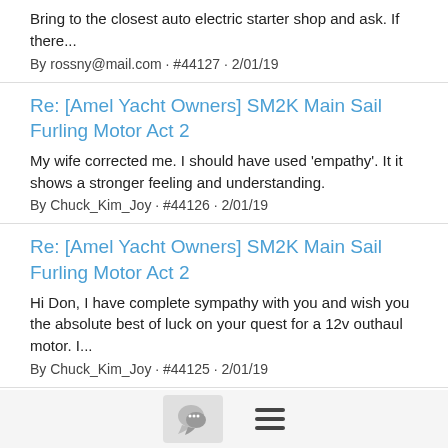Bring to the closest auto electric starter shop and ask. If there...
By rossny@mail.com · #44127 · 2/01/19
Re: [Amel Yacht Owners] SM2K Main Sail Furling Motor Act 2
My wife corrected me. I should have used 'empathy'. It it shows a stronger feeling and understanding.
By Chuck_Kim_Joy · #44126 · 2/01/19
Re: [Amel Yacht Owners] SM2K Main Sail Furling Motor Act 2
Hi Don, I have complete sympathy with you and wish you the absolute best of luck on your quest for a 12v outhaul motor. I...
By Chuck_Kim_Joy · #44125 · 2/01/19
Re: [Amel Yacht Owners] Furler motors & Headsail - Santorin
Hi Don I'm dealing with similar problems and have 2 motors with a company in Petone near Wellington I'm on my boat and in